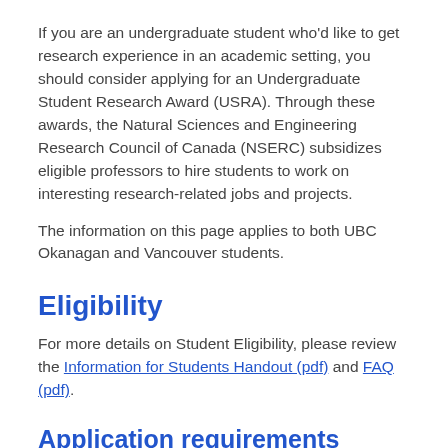If you are an undergraduate student who'd like to get research experience in an academic setting, you should consider applying for an Undergraduate Student Research Award (USRA). Through these awards, the Natural Sciences and Engineering Research Council of Canada (NSERC) subsidizes eligible professors to hire students to work on interesting research-related jobs and projects.
The information on this page applies to both UBC Okanagan and Vancouver students.
Eligibility
For more details on Student Eligibility, please review the Information for Students Handout (pdf) and FAQ (pdf).
Application requirements
You must be a Canadian citizen or permanent